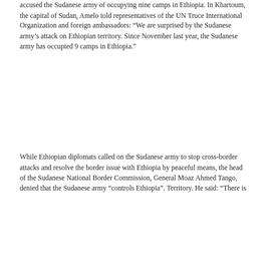accused the Sudanese army of occupying nine camps in Ethiopia. In Khartoum, the capital of Sudan, Amelo told representatives of the UN Truce International Organization and foreign ambassadors: “We are surprised by the Sudanese army’s attack on Ethiopian territory. Since November last year, the Sudanese army has occupied 9 camps in Ethiopia.”
While Ethiopian diplomats called on the Sudanese army to stop cross-border attacks and resolve the border issue with Ethiopia by peaceful means, the head of the Sudanese National Border Commission, General Moaz Ahmed Tango, denied that the Sudanese army “controls Ethiopia”. Territory. He said: “There is